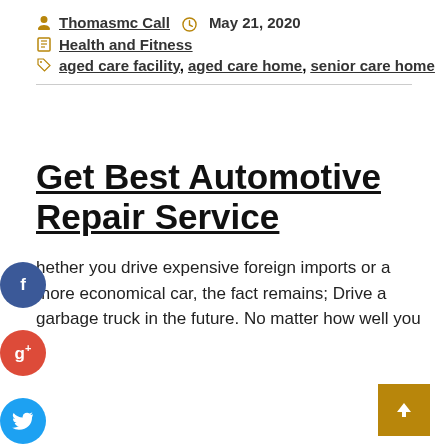Thomasmc Call · May 21, 2020
Health and Fitness
aged care facility, aged care home, senior care home
Get Best Automotive Repair Service
hether you drive expensive foreign imports or a more economical car, the fact remains; Drive a garbage truck in the future. No matter how well you